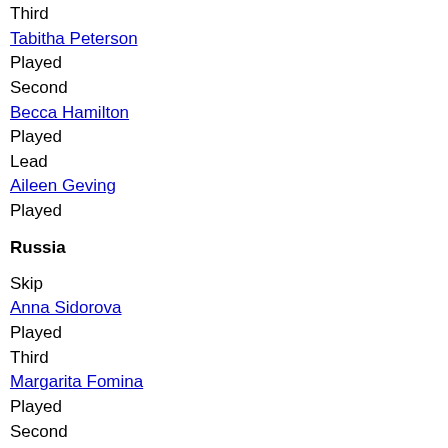Third
Tabitha Peterson
Played
Second
Becca Hamilton
Played
Lead
Aileen Geving
Played
Russia
Skip
Anna Sidorova
Played
Third
Margarita Fomina
Played
Second
Yulia Portunova
Played
Lead
Julia Guzieva
Played